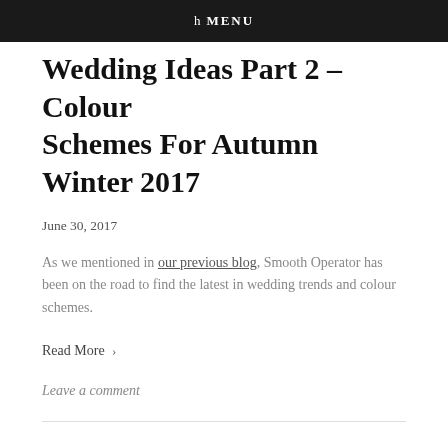ñ MENU
Wedding Ideas Part 2 – Colour Schemes For Autumn Winter 2017
June 30, 2017
As we mentioned in our previous blog, Smooth Operator has been on the road to find the latest in wedding trends and colour schemes.
Read More >
Leave a comment